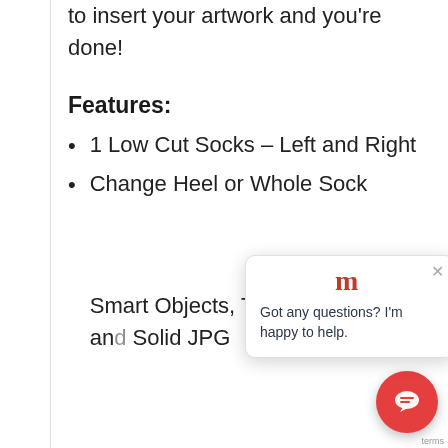to insert your artwork and you're done!
Features:
1 Low Cut Socks – Left and Right
Change Heel or Whole Sock
Smart Objects, Transparent PNG and Solid JPG
[Figure (screenshot): Chat popup widget with 'm' logo and message 'Got any questions? I'm happy to help.' with a close button, and a red circular chat button in the bottom right corner]